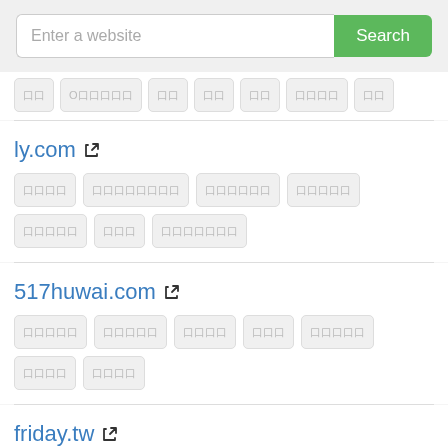[Figure (other): Search bar with text input placeholder 'Enter a website' and green 'Search' button]
Tag row with placeholder Chinese character boxes (partial, top-cropped)
ly.com (external link icon)
Tag row with 7 placeholder boxes for ly.com
517huwai.com (external link icon)
Tag row with 7 placeholder boxes for 517huwai.com
friday.tw (external link icon, partial)